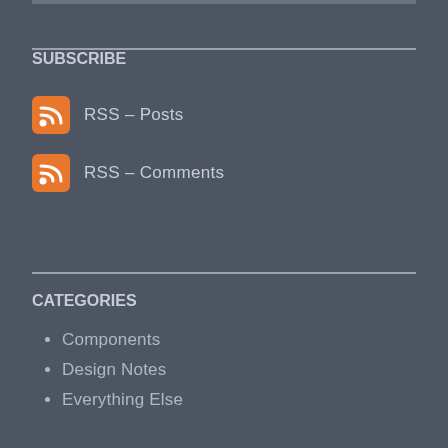SUBSCRIBE
RSS – Posts
RSS – Comments
CATEGORIES
Components
Design Notes
Everything Else